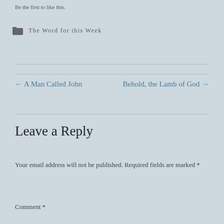Be the first to like this.
The Word for this Week
← A Man Called John
Behold, the Lamb of God →
Leave a Reply
Your email address will not be published. Required fields are marked *
Comment *